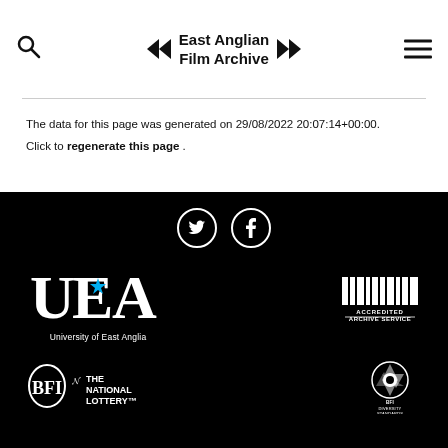East Anglian Film Archive
The data for this page was generated on 29/08/2022 20:07:14+00:00.
Click to regenerate this page .
[Figure (logo): Social media icons: Twitter and Facebook circles in white on black]
[Figure (logo): UEA University of East Anglia logo in white]
[Figure (logo): Accredited Archive Service logo in white]
[Figure (logo): BFI logo and The National Lottery logo in white]
[Figure (logo): BFI Diversity Standards logo in white]